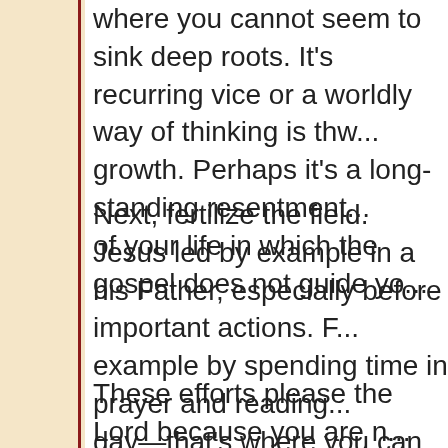where you cannot seem to sink deep roots. It's where a recurring vice or a worldly way of thinking is thwarting your growth. Perhaps it's a long-standing resentment or an area of your life in which the gospel does not guide yo
Next, fertilize the field. Jesus led by example in always seeking his Father, especially before important actions. Follow his example by spending time in prayer and reading scripture each day—that's where you can connect with Jesus and get the nourishment you need to bear spiritual fruit. He said, "Without me you can do nothing" (John 15:5). The Eucharist and Confession are also a powerful fe... be surprised by how attending a weekday Mass ... become a more peaceful, loving person.
These efforts please the Lord because you are r... receive his love—which is his greatest desire. Bu... what you do, God goes before you, sowing see...